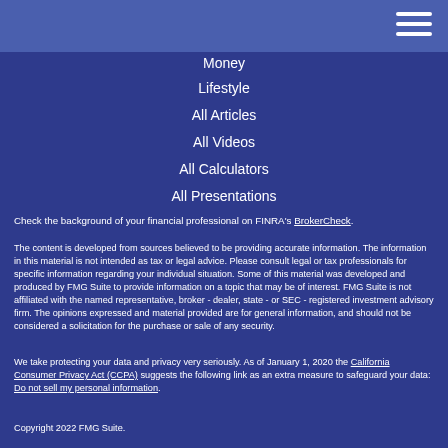Money
Lifestyle
All Articles
All Videos
All Calculators
All Presentations
Check the background of your financial professional on FINRA's BrokerCheck.
The content is developed from sources believed to be providing accurate information. The information in this material is not intended as tax or legal advice. Please consult legal or tax professionals for specific information regarding your individual situation. Some of this material was developed and produced by FMG Suite to provide information on a topic that may be of interest. FMG Suite is not affiliated with the named representative, broker - dealer, state - or SEC - registered investment advisory firm. The opinions expressed and material provided are for general information, and should not be considered a solicitation for the purchase or sale of any security.
We take protecting your data and privacy very seriously. As of January 1, 2020 the California Consumer Privacy Act (CCPA) suggests the following link as an extra measure to safeguard your data: Do not sell my personal information.
Copyright 2022 FMG Suite.